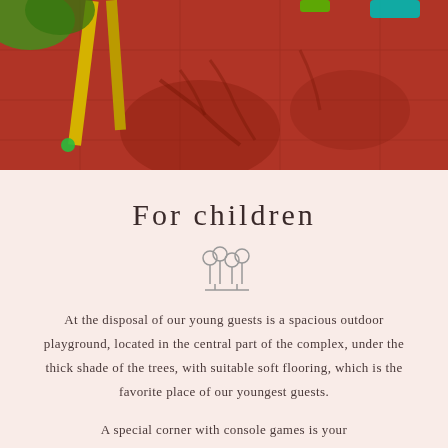[Figure (photo): Outdoor playground photo showing red rubber flooring with shadows of trees and yellow playground equipment poles visible at the top of the page.]
For children
[Figure (illustration): Small decorative icon of two trees/plants in gray outline style]
At the disposal of our young guests is a spacious outdoor playground, located in the central part of the complex, under the thick shade of the trees, with suitable soft flooring, which is the favorite place of our youngest guests.
A special corner with console games is your